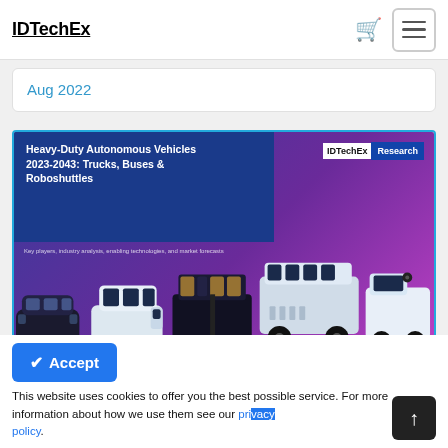IDTechEx
Aug 2022
[Figure (illustration): IDTechEx Research report cover for 'Heavy-Duty Autonomous Vehicles 2023-2043: Trucks, Buses & Roboshuttles' showing illustrated autonomous vehicles on a purple/blue gradient background]
This website uses cookies to offer you the best possible service. For more information about how we use them see our privacy policy.